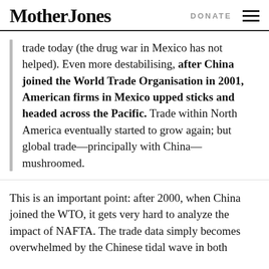Mother Jones | DONATE
trade today (the drug war in Mexico has not helped). Even more destabilising, after China joined the World Trade Organisation in 2001, American firms in Mexico upped sticks and headed across the Pacific. Trade within North America eventually started to grow again; but global trade—principally with China—mushroomed.
This is an important point: after 2000, when China joined the WTO, it gets very hard to analyze the impact of NAFTA. The trade data simply becomes overwhelmed by the Chinese tidal wave in both